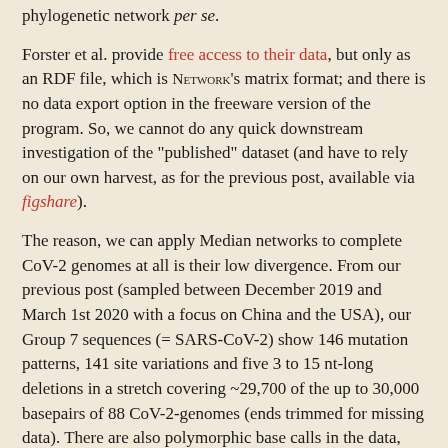phylogenetic network per se.
Forster et al. provide free access to their data, but only as an RDF file, which is NETWORK's matrix format; and there is no data export option in the freeware version of the program. So, we cannot do any quick downstream investigation of the "published" dataset (and have to rely on our own harvest, as for the previous post, available via figshare).
The reason, we can apply Median networks to complete CoV-2 genomes at all is their low divergence. From our previous post (sampled between December 2019 and March 1st 2020 with a focus on China and the USA), our Group 7 sequences (= SARS-CoV-2) show 146 mutation patterns, 141 site variations and five 3 to 15 nt-long deletions in a stretch covering ~29,700 of the up to 30,000 basepairs of 88 CoV-2-genomes (ends trimmed for missing data). There are also polymorphic base calls in the data, but no prior way to judge whether these represent genuine host polymorphism or simply mediocre sequencing.
Are we detecting homoplasy, or is it recombination?